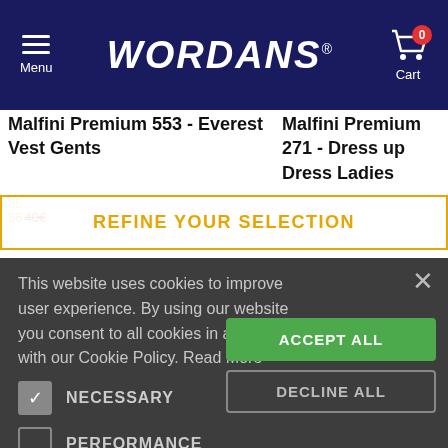Menu | WORDANS® | Cart 0
Malfini Premium 553 - Everest Vest Gents
Malfini Premium 271 - Dress up Dress Ladies
REFINE YOUR SELECTION
This website uses cookies to improve user experience. By using our website you consent to all cookies in accordance with our Cookie Policy. Read More
NECESSARY
PERFORMANCE
ADVERTISING
FUNCTIONALITY
ACCEPT ALL
DECLINE ALL